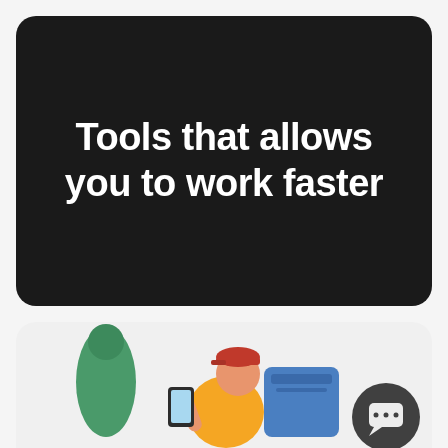Tools that allows you to work faster
[Figure (illustration): Illustration of a delivery person wearing a yellow hoodie and red cap, holding a smartphone, with a blue backpack/box, a green bag shape on the left, and a dark chat/message bubble icon on the right, on a light grey rounded card background.]